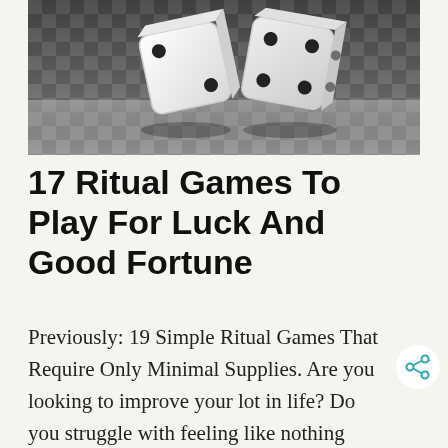[Figure (photo): Black and white photo of two white dice on a reflective checkered surface]
17 Ritual Games To Play For Luck And Good Fortune
Previously: 19 Simple Ritual Games That Require Only Minimal Supplies. Are you looking to improve your lot in life? Do you struggle with feeling like nothing ever goes your way? Do you long